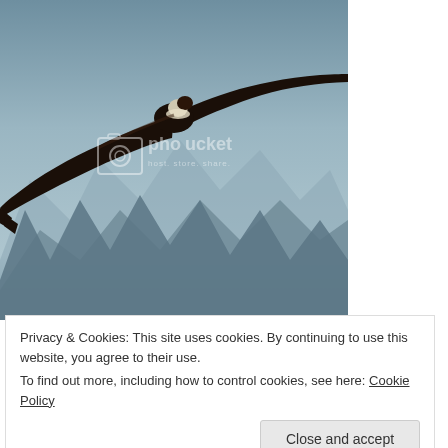[Figure (photo): A large bird (condor) soaring with wings spread wide against a mountain backdrop with rocky peaks and hazy sky. Photobucket watermark visible.]
Privacy & Cookies: This site uses cookies. By continuing to use this website, you agree to their use.
To find out more, including how to control cookies, see here: Cookie Policy
Close and accept
from the mechanical flapping of wings as opposed to